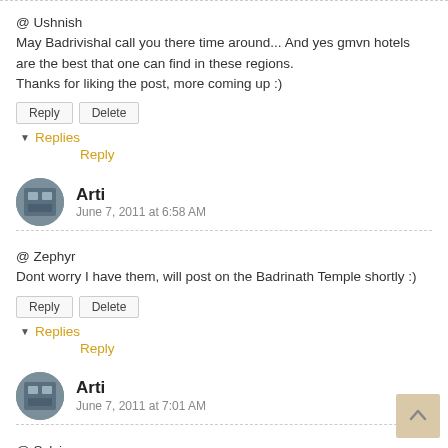@ Ushnish
May Badrivishal call you there time around... And yes gmvn hotels are the best that one can find in these regions.
Thanks for liking the post, more coming up :)
Reply | Delete
▼ Replies
Reply
Arti
June 7, 2011 at 6:58 AM
@ Zephyr
Dont worry I have them, will post on the Badrinath Temple shortly :)
Reply | Delete
▼ Replies
Reply
Arti
June 7, 2011 at 7:01 AM
@ Sylvia
Hope you visit India someday, Thanks for the generous compliment:)